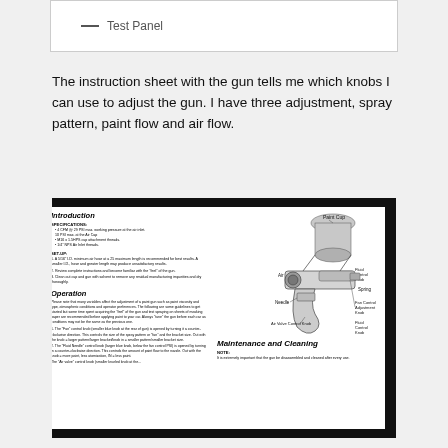[Figure (other): Top section showing a white bordered box with a dash and 'Test Panel' text label]
The instruction sheet with the gun tells me which knobs I can use to adjust the gun. I have three adjustment, spray pattern, paint flow and air flow.
[Figure (photo): Photograph of a spray gun instruction manual page showing Introduction and Operation sections with a diagram of a spray gun and its labeled parts including Paint Cup, Air Cap, Nozzle, Fluid Control Knob, Spring, Needle, Fan Control Adjustment Knob, Air Valve Control Knob, and a Maintenance and Cleaning section.]